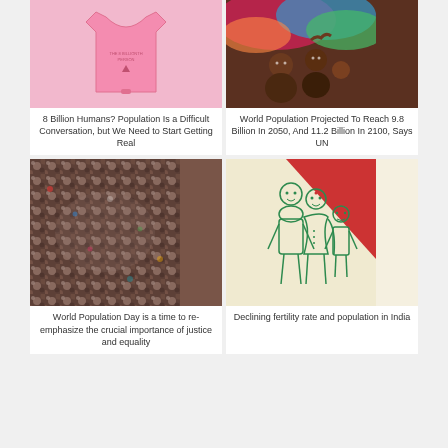[Figure (photo): Pink baby onesie with text on it]
8 Billion Humans? Population Is a Difficult Conversation, but We Need to Start Getting Real
[Figure (photo): Women and children with colorful fabric, likely African setting]
World Population Projected To Reach 9.8 Billion In 2050, And 11.2 Billion In 2100, Says UN
[Figure (photo): Large crowd of people viewed from above]
World Population Day is a time to re-emphasize the crucial importance of justice and equality
[Figure (illustration): Illustrated Indian family with green line art figures and a red triangle, family planning illustration]
Declining fertility rate and population in India